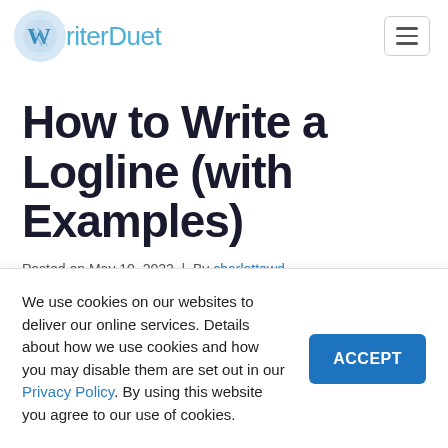WriterDuet
How to Write a Logline (with Examples)
Posted on May 10, 2022 | By charlottewd
We use cookies on our websites to deliver our online services. Details about how we use cookies and how you may disable them are set out in our Privacy Policy. By using this website you agree to our use of cookies.